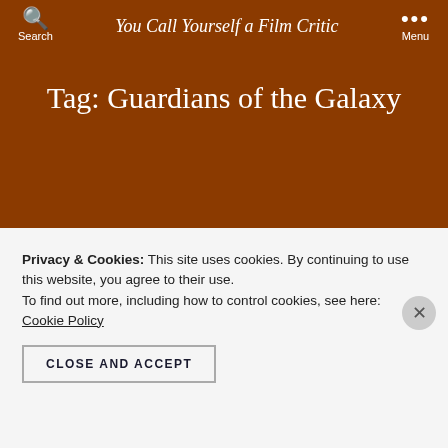Search | You Call Yourself a Film Critic | Menu
Tag: Guardians of the Galaxy
LISTS
Backwards MCU
Privacy & Cookies: This site uses cookies. By continuing to use this website, you agree to their use.
To find out more, including how to control cookies, see here: Cookie Policy
CLOSE AND ACCEPT